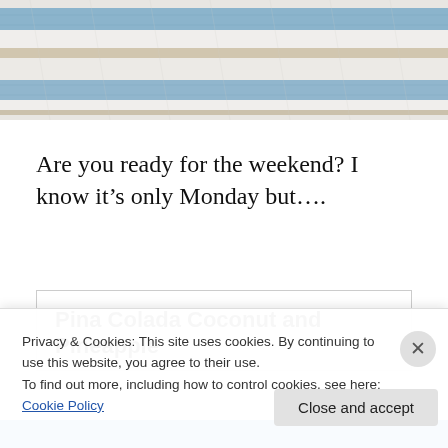[Figure (photo): Close-up photo of striped fabric/textile with blue, white, and tan/beige stripes, appearing to be a woven or knit material.]
Are you ready for the weekend? I know it’s only Monday but….
Pina Colada Coconut and Pineapple
Privacy & Cookies: This site uses cookies. By continuing to use this website, you agree to their use.
To find out more, including how to control cookies, see here: Cookie Policy
Close and accept